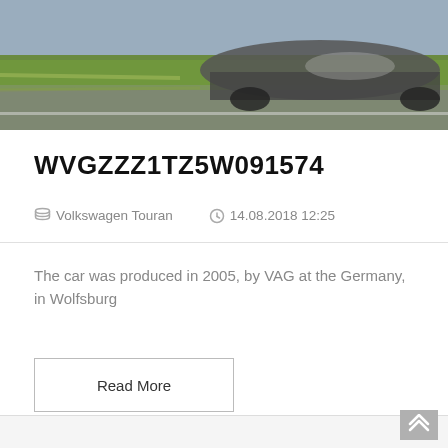[Figure (photo): Car photograph showing a vehicle on a road with green grass blur in background]
WVGZZZ1TZ5W091574
Volkswagen Touran   14.08.2018 12:25
The car was produced in 2005, by VAG at the Germany, in Wolfsburg